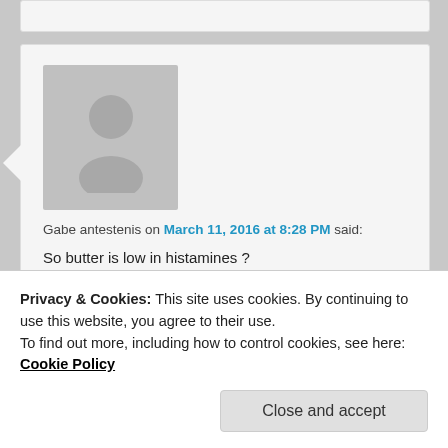Gabe antestenis on March 11, 2016 at 8:28 PM said:
So butter is low in histamines ?
★ Like
Reply ↓
Privacy & Cookies: This site uses cookies. By continuing to use this website, you agree to their use.
To find out more, including how to control cookies, see here: Cookie Policy
Close and accept